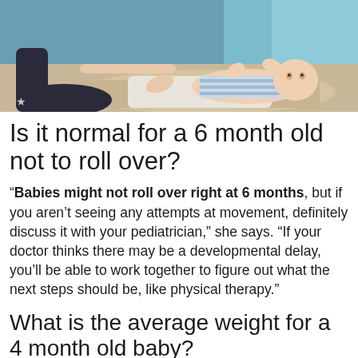[Figure (photo): A baby lying on its back on a blanket on the floor, with an adult (likely a parent) sitting nearby and interacting with the baby. The baby is wearing a striped outfit.]
Is it normal for a 6 month old not to roll over?
“Babies might not roll over right at 6 months, but if you aren’t seeing any attempts at movement, definitely discuss it with your pediatrician,” she says. “If your doctor thinks there may be a developmental delay, you’ll be able to work together to figure out what the next steps should be, like physical therapy.”
What is the average weight for a 4 month old baby?